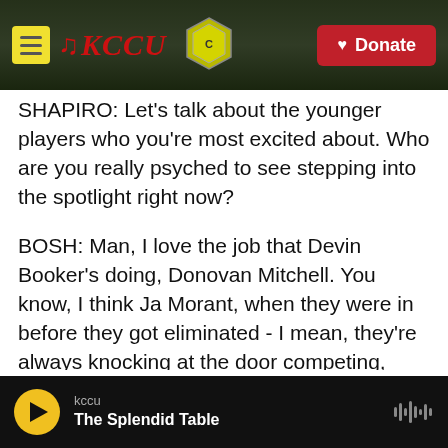KCCU — Donate
SHAPIRO: Let's talk about the younger players who you're most excited about. Who are you really psyched to see stepping into the spotlight right now?
BOSH: Man, I love the job that Devin Booker's doing, Donovan Mitchell. You know, I think Ja Morant, when they were in before they got eliminated - I mean, they're always knocking at the door competing, especially with Donovan Mitchell. They're - the Jazz team being in the No. 1 seed, being a strong home team and a top five team in
kccu — The Splendid Table